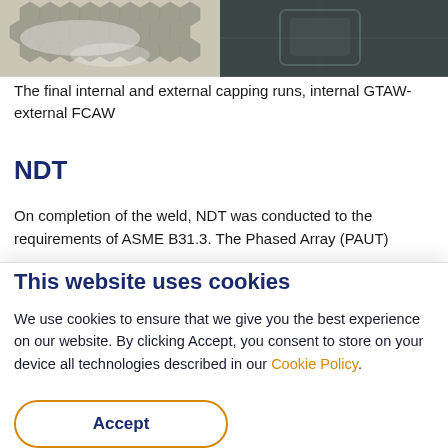[Figure (photo): Two side-by-side photographs showing weld capping runs: left image shows honeycomb-patterned internal GTAW weld surface with white residue; right image shows dark external FCAW weld surface.]
The final internal and external capping runs, internal GTAW-external FCAW
NDT
On completion of the weld, NDT was conducted to the requirements of ASME B31.3. The Phased Array (PAUT)
This website uses cookies
We use cookies to ensure that we give you the best experience on our website. By clicking Accept, you consent to store on your device all technologies described in our Cookie Policy.
Accept